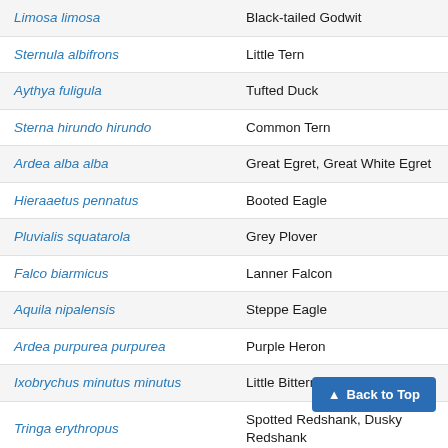| Scientific Name | Common Name |
| --- | --- |
| Limosa limosa | Black-tailed Godwit |
| Sternula albifrons | Little Tern |
| Aythya fuligula | Tufted Duck |
| Sterna hirundo hirundo | Common Tern |
| Ardea alba alba | Great Egret, Great White Egret |
| Hieraaetus pennatus | Booted Eagle |
| Pluvialis squatarola | Grey Plover |
| Falco biarmicus | Lanner Falcon |
| Aquila nipalensis | Steppe Eagle |
| Ardea purpurea purpurea | Purple Heron |
| Ixobrychus minutus minutus | Little Bittern |
| Tringa erythropus | Spotted Redshank, Dusky Redshank |
| Bucephala clangula | Common Goldeneye |
| Arenaria interpres | Ruddy Turnstone |
| Gallinago gallinago | Common Snipe |